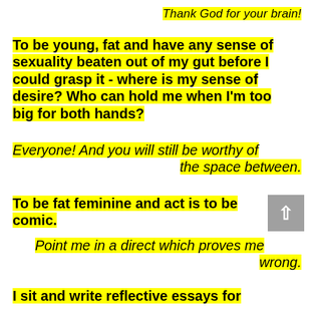Thank God for your brain!
To be young, fat and have any sense of sexuality beaten out of my gut before I could grasp it - where is my sense of desire? Who can hold me when I'm too big for both hands?
Everyone! And you will still be worthy of the space between.
To be fat feminine and act is to be comic.
Point me in a direct which proves me wrong.
I sit and write reflective essays for